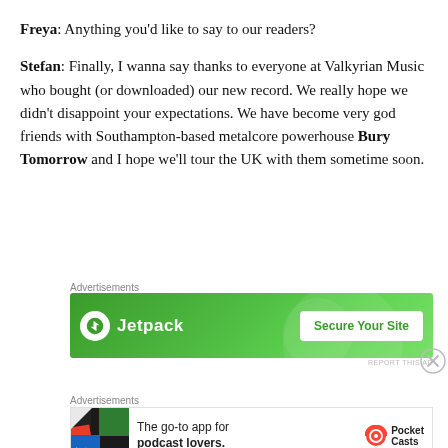Freya: Anything you'd like to say to our readers?

Stefan: Finally, I wanna say thanks to everyone at Valkyrian Music who bought (or downloaded) our new record. We really hope we didn't disappoint your expectations. We have become very god friends with Southampton-based metalcore powerhouse Bury Tomorrow and I hope we'll tour the UK with them sometime soon.
[Figure (other): Jetpack advertisement banner with green background showing Jetpack logo and 'Secure Your Site' button]
[Figure (other): Pocket Casts advertisement banner with text 'The go-to app for podcast lovers.' and Pocket Casts logo]